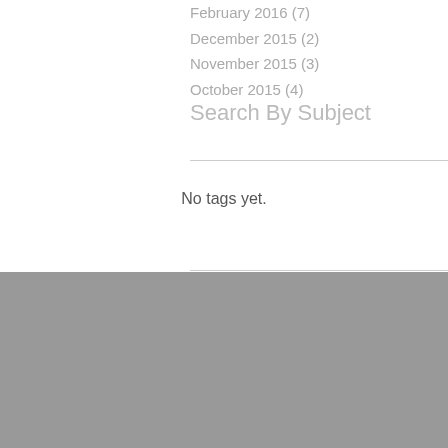February 2016 (7)
December 2015 (2)
November 2015 (3)
October 2015 (4)
Search By Subject
No tags yet.
Fletcher, Selser & Devine, LLC  |  30 Milk Street, 3rd Floor  |  Portland, Maine 04101
Phone: 207.536.4664  |  Fax: 833.624.4567
© 2016 by Fletcher, Selser & Devine, LLC